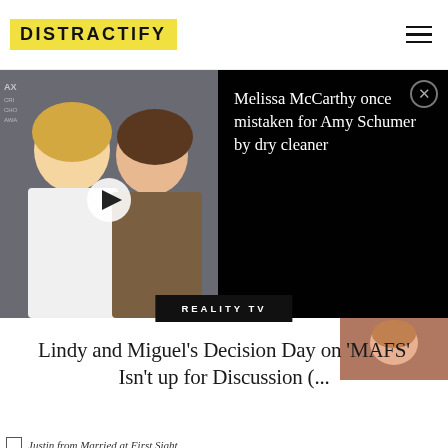DISTRACTIFY
[Figure (screenshot): Video thumbnail showing two women (Amy Schumer and Melissa McCarthy) at an awards show, with a play button overlay and dark notification panel reading 'Melissa McCarthy once mistaken for Amy Schumer by dry cleaner']
REALITY TV
Lindy and Miguel's Decision Day on 'MAFS' Isn't up for Discussion (...
Justin from Married at First Sight